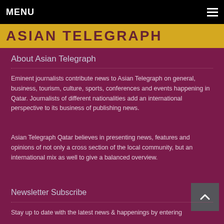MENU
[Figure (logo): Asian Telegraph logo on golden/yellow banner]
About Asian Telegraph
Eminent journalists contribute news to Asian Telegraph on general, business, tourism, culture, sports, conferences and events happening in Qatar. Journalists of different nationalities add an international perspective to its business of publishing news.
Asian Telegraph Qatar believes in presenting news, features and opinions of not only a cross section of the local community, but an international mix as well to give a balanced overview.
Newsletter Subscribe
Stay up to date with the latest news & happenings by entering